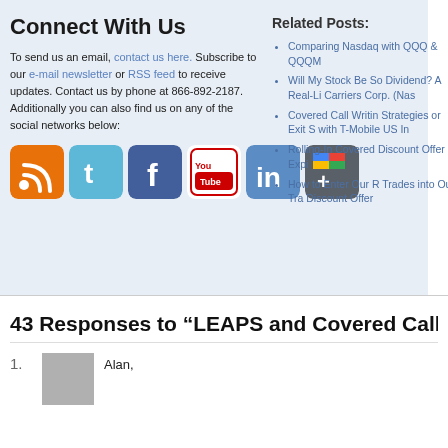Connect With Us
To send us an email, contact us here. Subscribe to our e-mail newsletter or RSS feed to receive updates. Contact us by phone at 866-892-2187. Additionally you can also find us on any of the social networks below:
[Figure (other): Social media icons: RSS feed, Twitter, Facebook, YouTube, LinkedIn, Google+]
Related Posts:
Comparing Nasdaq with QQQ & QQQM
Will My Stock Be So Dividend? A Real-Li Carriers Corp. (Nas
Covered Call Writin Strategies or Exit S with T-Mobile US In
Rolling-In Covered Discount Offer Expi
How to Enter Our R Trades into Our Tra Discount Offer
43 Responses to “LEAPS and Covered Call Writin
Alan,